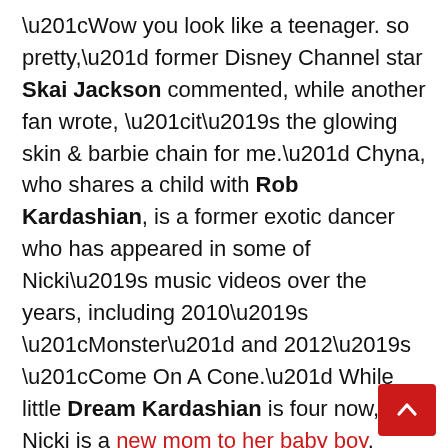“Wow you look like a teenager. so pretty,” former Disney Channel star Skai Jackson commented, while another fan wrote, “it’s the glowing skin & barbie chain for me.” Chyna, who shares a child with Rob Kardashian, is a former exotic dancer who has appeared in some of Nicki’s music videos over the years, including 2010’s “Monster” and 2012’s “Come On A Cone.” While little Dream Kardashian is four now, Nicki is a new mom to her baby boy.
While he was born on Sept. 30, the “Chun-Li” rapper waited until Jan. 2 to share the first clear photos and video of their baby boy’s adorable face. Nicki posted them to Instagram and Twitter, and the pics and video show the infant wearing various cute outfits — after all, he got a whole